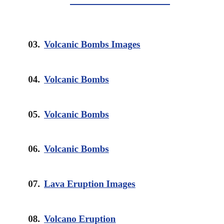03. Volcanic Bombs Images
04. Volcanic Bombs
05. Volcanic Bombs
06. Volcanic Bombs
07. Lava Eruption Images
08. Volcano Eruption
09. Lava Fountain
10. Ring of Fire